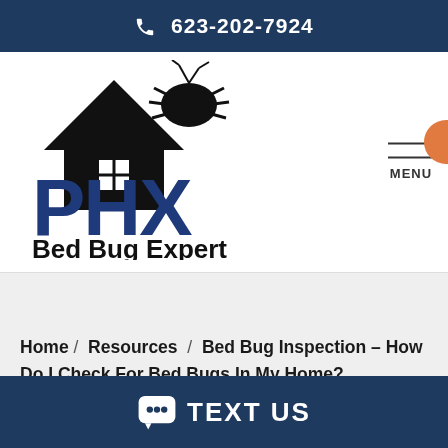📞 623-202-7924
[Figure (logo): PHX Bed Bug Expert logo with house silhouette and bed bug illustration, company name in blue bold letters]
MENU
Home / Resources / Bed Bug Inspection – How Do I Check For Bed Bugs In My Home?
💬 TEXT US